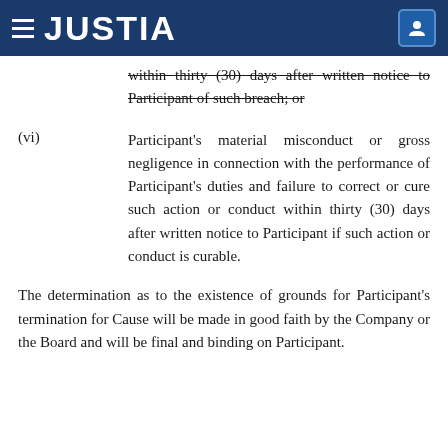JUSTIA
within thirty (30) days after written notice to Participant of such breach; or
(vi) Participant's material misconduct or gross negligence in connection with the performance of Participant's duties and failure to correct or cure such action or conduct within thirty (30) days after written notice to Participant if such action or conduct is curable.
The determination as to the existence of grounds for Participant's termination for Cause will be made in good faith by the Company or the Board and will be final and binding on Participant.